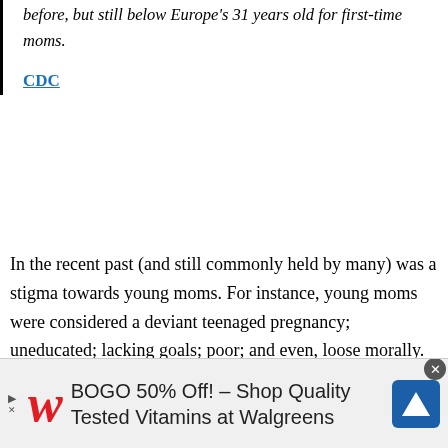before, but still below Europe's 31 years old for first-time moms.
CDC
In the recent past (and still commonly held by many) was a stigma towards young moms. For instance, young moms were considered a deviant teenaged pregnancy; uneducated; lacking goals; poor; and even, loose morally. And it was thought that their children were doomed to a life of impoverished nuisance... regardless of the mom and situation.
[Figure (other): Walgreens advertisement banner: BOGO 50% Off! - Shop Quality Tested Vitamins at Walgreens, with Walgreens cursive W logo in red and a blue navigation arrow icon]